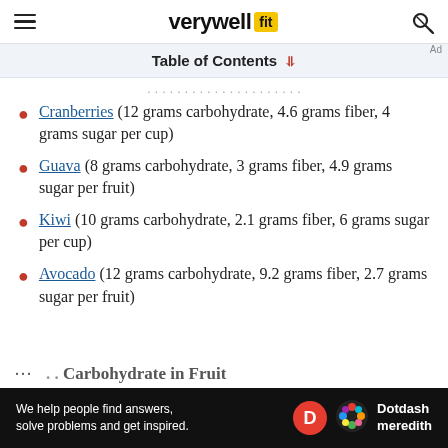verywell fit
Table of Contents
Cranberries (12 grams carbohydrate, 4.6 grams fiber, 4 grams sugar per cup)
Guava (8 grams carbohydrate, 3 grams fiber, 4.9 grams sugar per fruit)
Kiwi (10 grams carbohydrate, 2.1 grams fiber, 6 grams sugar per cup)
Avocado (12 grams carbohydrate, 9.2 grams fiber, 2.7 grams sugar per fruit)
Ad — We help people find answers, solve problems and get inspired. Dotdash meredith